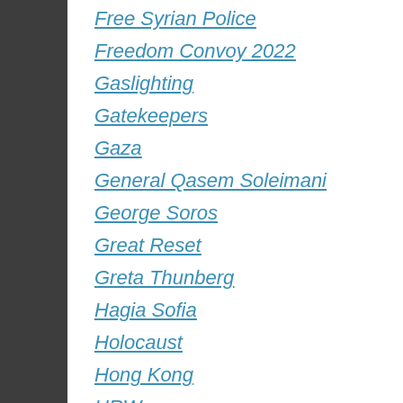Free Syrian Police
Freedom Convoy 2022
Gaslighting
Gatekeepers
Gaza
General Qasem Soleimani
George Soros
Great Reset
Greta Thunberg
Hagia Sofia
Holocaust
Hong Kong
HRW
Humanity
ICC
Idlib